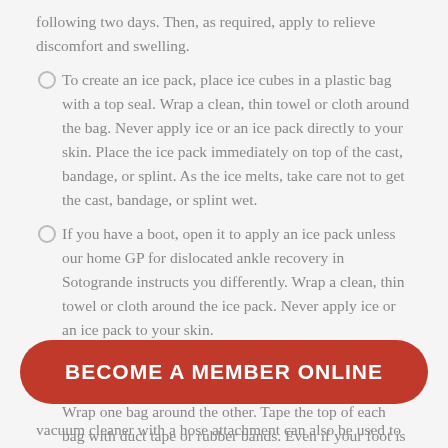following two days. Then, as required, apply to relieve discomfort and swelling.
To create an ice pack, place ice cubes in a plastic bag with a top seal. Wrap a clean, thin towel or cloth around the bag. Never apply ice or an ice pack directly to your skin. Place the ice pack immediately on top of the cast, bandage, or splint. As the ice melts, take care not to get the cast, bandage, or splint wet.
If you have a boot, open it to apply an ice pack unless our home GP for dislocated ankle recovery in Sotogrande instructs you differently. Wrap a clean, thin towel or cloth around the ice pack. Never apply ice or an ice pack to your skin.
Maintain the dryness of the cast, bandage, splint, or boot. When bathing, wrap it in two huge plastic bags. Wrap one bag around the other. Tape the top of each bag with duct tape or rubber bands. Even if your foot is covered, water can still get through. As a result, it's preferable to keep the cast, bandage,
BECOME A MEMBER ONLINE
vacuum cleaner with a hose attachment can also be used to